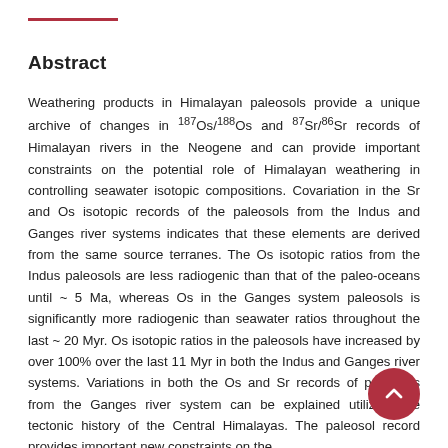Abstract
Weathering products in Himalayan paleosols provide a unique archive of changes in 187Os/188Os and 87Sr/86Sr records of Himalayan rivers in the Neogene and can provide important constraints on the potential role of Himalayan weathering in controlling seawater isotopic compositions. Covariation in the Sr and Os isotopic records of the paleosols from the Indus and Ganges river systems indicates that these elements are derived from the same source terranes. The Os isotopic ratios from the Indus paleosols are less radiogenic than that of the paleo-oceans until ~ 5 Ma, whereas Os in the Ganges system paleosols is significantly more radiogenic than seawater ratios throughout the last ~ 20 Myr. Os isotopic ratios in the paleosols have increased by over 100% over the last 11 Myr in both the Indus and Ganges river systems. Variations in both the Os and Sr records of paleosols from the Ganges river system can be explained utilizing the tectonic history of the Central Himalayas. The paleosol record provides important new constraints on the